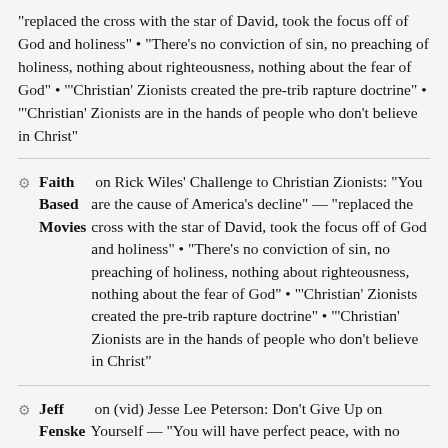"replaced the cross with the star of David, took the focus off of God and holiness" • "There's no conviction of sin, no preaching of holiness, nothing about righteousness, nothing about the fear of God" • "'Christian' Zionists created the pre-trib rapture doctrine" • "'Christian' Zionists are in the hands of people who don't believe in Christ"
Faith Based Movies on Rick Wiles' Challenge to Christian Zionists: "You are the cause of America's decline" — "replaced the cross with the star of David, took the focus off of God and holiness" • "There's no conviction of sin, no preaching of holiness, nothing about righteousness, nothing about the fear of God" • "'Christian' Zionists created the pre-trib rapture doctrine" • "'Christian' Zionists are in the hands of people who don't believe in Christ"
Jeff Fenske on (vid) Jesse Lee Peterson: Don't Give Up on Yourself — "You will have perfect peace, with no